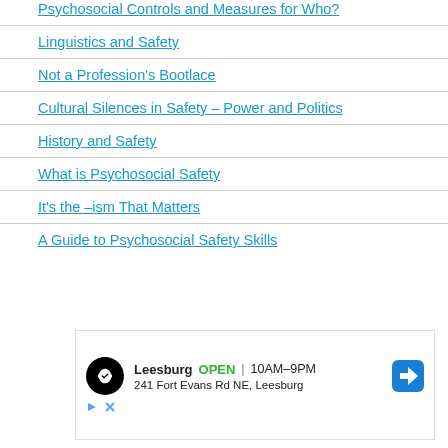Psychosocial Controls and Measures for Who?
Linguistics and Safety
Not a Profession's Bootlace
Cultural Silences in Safety – Power and Politics
History and Safety
What is Psychosocial Safety
It's the –ism That Matters
A Guide to Psychosocial Safety Skills
[Figure (other): Advertisement banner for Leesburg store: logo, OPEN 10AM-9PM, 241 Fort Evans Rd NE, Leesburg, navigation icon]